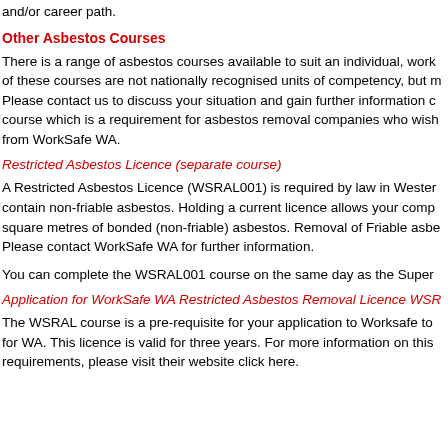and/or career path.
Other Asbestos Courses
There is a range of asbestos courses available to suit an individual, work of these courses are not nationally recognised units of competency, but m Please contact us to discuss your situation and gain further information c course which is a requirement for asbestos removal companies who wish from WorkSafe WA.
Restricted Asbestos Licence (separate course)
A Restricted Asbestos Licence (WSRAL001) is required by law in Wester contain non-friable asbestos. Holding a current licence allows your comp square metres of bonded (non-friable) asbestos. Removal of Friable asbe Please contact WorkSafe WA for further information.
You can complete the WSRAL001 course on the same day as the Super
Application for WorkSafe WA Restricted Asbestos Removal Licence WSR
The WSRAL course is a pre-requisite for your application to Worksafe to for WA. This licence is valid for three years. For more information on this requirements, please visit their website click here.